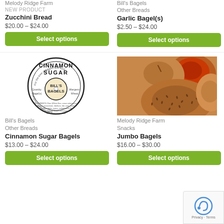Melody Ridge Farm
NEW PRODUCT
Zucchini Bread
$20.00 – $24.00
Select options
Bill's Bagels
Other Breads
Garlic Bagel(s)
$2.50 – $24.00
Select options
[Figure (logo): Circular label for Bill's Bagels Cinnamon Sugar flavor, black and white design with product info]
Bill's Bagels
Other Breads
Cinnamon Sugar Bagels
$13.00 – $24.00
Select options
[Figure (photo): Photo of assorted bagels including a seeded bagel and a bagel topped with red sauce/cheese]
Melody Ridge Farm
Snacks
Jumbo Bagels
$16.00 – $30.00
Select options